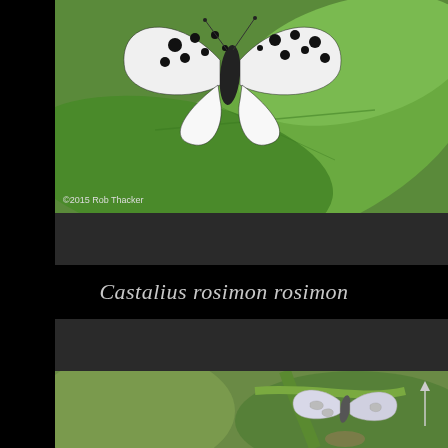[Figure (photo): Close-up macro photograph of a white butterfly with black spots resting on a large green leaf. Copyright 2015 Rob Thacker watermark visible in lower left of image.]
Castalius rosimon rosimon
[Figure (photo): Macro photograph of a butterfly with pale silvery-white patterned wings resting on a green leaf/plant stem. An upward arrow is visible in the lower right area of the image.]